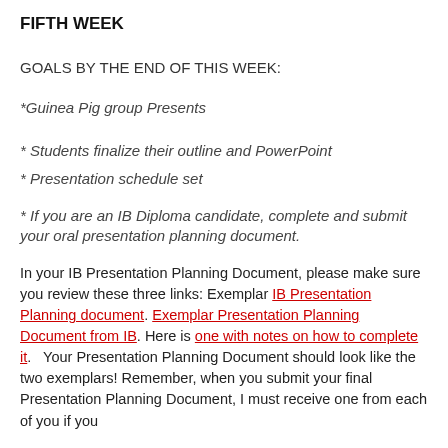FIFTH WEEK
GOALS BY THE END OF THIS WEEK:
*Guinea Pig group Presents
* Students finalize their outline and PowerPoint
* Presentation schedule set
* If you are an IB Diploma candidate, complete and submit your oral presentation planning document.
In your IB Presentation Planning Document, please make sure you review these three links: Exemplar IB Presentation Planning document. Exemplar Presentation Planning Document from IB. Here is one with notes on how to complete it.   Your Presentation Planning Document should look like the two exemplars! Remember, when you submit your final Presentation Planning Document, I must receive one from each of you if you